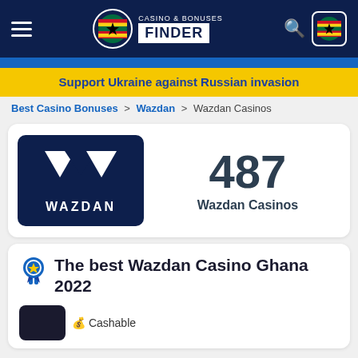Casino & Bonuses Finder — navigation bar with hamburger menu, logo, search and Ghana flag icon
Support Ukraine against Russian invasion
Best Casino Bonuses > Wazdan > Wazdan Casinos
[Figure (logo): Wazdan logo on dark navy background with geometric triangular W symbol and text WAZDAN]
487 Wazdan Casinos
The best Wazdan Casino Ghana 2022
Cashable